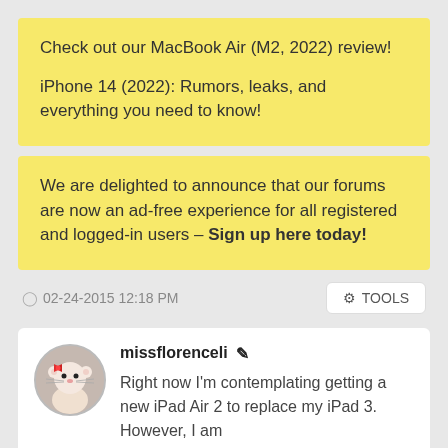Check out our MacBook Air (M2, 2022) review!

iPhone 14 (2022): Rumors, leaks, and everything you need to know!
We are delighted to announce that our forums are now an ad-free experience for all registered and logged-in users - Sign up here today!
02-24-2015 12:18 PM
TOOLS
missflorenceli
Right now I'm contemplating getting a new iPad Air 2 to replace my iPad 3. However, I am